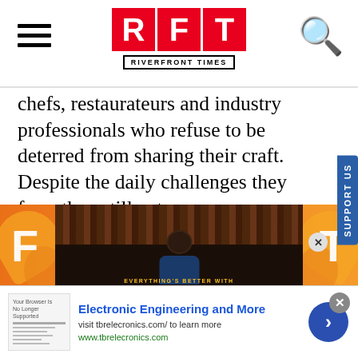RFT RIVERFRONT TIMES
chefs, restaurateurs and industry professionals who refuse to be deterred from sharing their craft. Despite the daily challenges they face, they still get up every morning, turn on the ovens and polish the glassware to welcome us into their homes away from home. That they continue to do this, no matter how tough things get, is the truest form of hospitality. — Cheryl Baehr
[Figure (advertisement): Orange advertisement banner with F and T letters and a person in the center]
[Figure (advertisement): Bottom banner ad for Electronic Engineering and More - tbrelecronics.com]